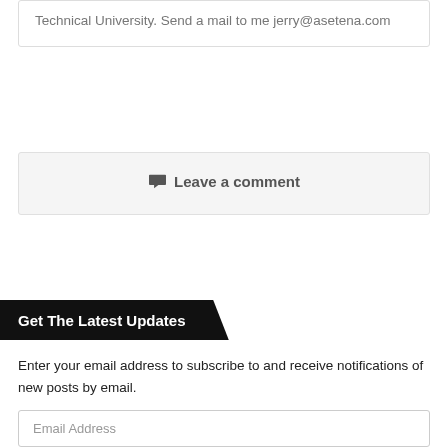Technical University. Send a mail to me jerry@asetena.com
Leave a comment
Get The Latest Updates
Enter your email address to subscribe to and receive notifications of new posts by email.
Email Address